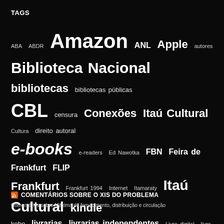TAGS
ABA ABDR Amazon ANL Apple autores Biblioteca Nacional bibliotecas bibliotecas públicas CBL censura Conexões Itaú Cultural Cultura direito autoral e-books e-readers Ed Nawotka FBN Feira de Frankfurt FLIP Frankfurt Frankfurt 1994 Internet Itamaraty Itaú Cultural kindle kobo livrarias livrarias independentes Livro digital livro popular Machado de Assis magazine Marco Zero Maria José Silveira MEC metadados MinC pirataria PNLL preço fixo Publishing Perspectives Saraiva SNEL tradução traduções
COMENTÁRIOS SOBRE O XIS DO PROBLEMA
Comentários sobre Máxima de fornecimento, distribuição e circulação